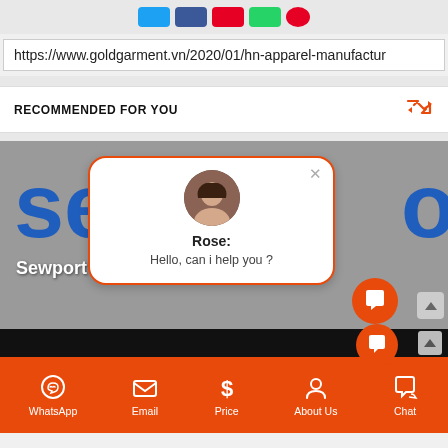[Figure (screenshot): Social media share buttons: Twitter (blue), Facebook (dark blue), Pinterest (red), WhatsApp (green), and one more (red circle)]
https://www.goldgarment.vn/2020/01/hn-apparel-manufactur
RECOMMENDED FOR YOU
[Figure (screenshot): Screenshot of a website showing Sewport Ltd logo with a chat popup from Rose saying 'Hello, can i help you ?']
WhatsApp  Email  Price  About Us  Chat